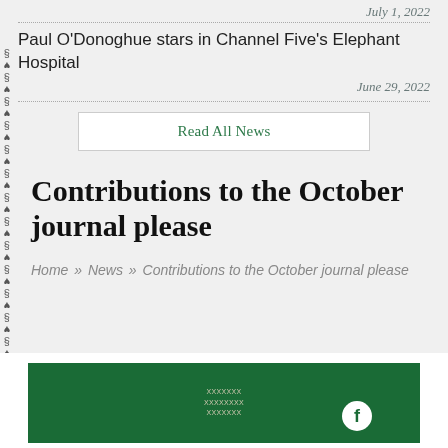July 1, 2022
Paul O'Donoghue stars in Channel Five's Elephant Hospital
June 29, 2022
Read All News
Contributions to the October journal please
Home » News » Contributions to the October journal please
[Figure (screenshot): Dark green footer bar with small text lines and a Facebook icon circle on the right]